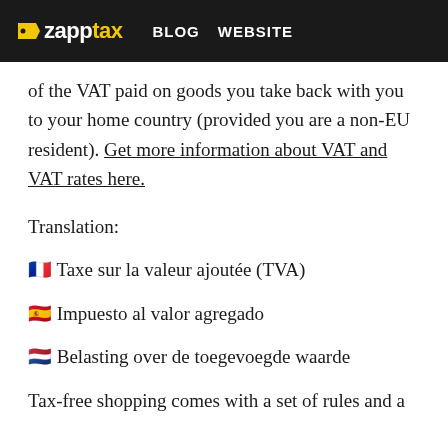zapptax | BLOG | WEBSITE
of the VAT paid on goods you take back with you to your home country (provided you are a non-EU resident). Get more information about VAT and VAT rates here.
Translation:
🇫🇷 Taxe sur la valeur ajoutée (TVA)
🇪🇸 Impuesto al valor agregado
🇳🇱 Belasting over de toegevoegde waarde
Tax-free shopping comes with a set of rules and a